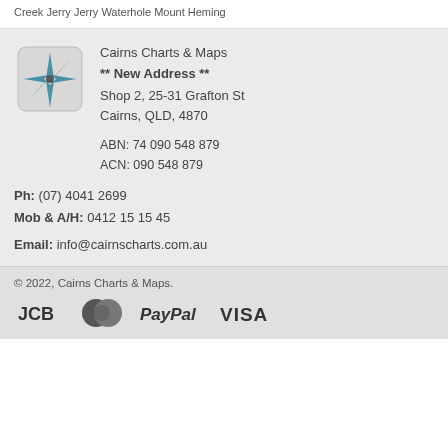Creek Jerry Jerry Waterhole Mount Heming
Cairns Charts & Maps
** New Address **
Shop 2, 25-31 Grafton St
Cairns, QLD, 4870
ABN: 74 090 548 879
ACN: 090 548 879
[Figure (logo): Compass rose logo for Cairns Charts & Maps]
Ph: (07) 4041 2699
Mob & A/H: 0412 15 15 45
Email: info@cairnscharts.com.au
© 2022, Cairns Charts & Maps.
[Figure (logo): Payment method logos: JCB, MasterCard, PayPal, VISA]